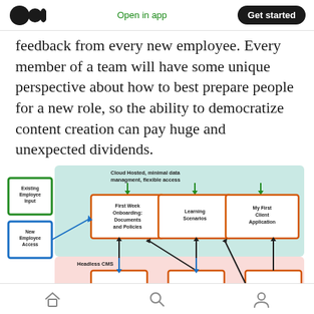Medium logo | Open in app | Get started
feedback from every new employee. Every member of a team will have some unique perspective about how to best prepare people for a new role, so the ability to democratize content creation can pay huge and unexpected dividends.
[Figure (flowchart): Flowchart showing employee onboarding system. Two input boxes on the left: 'Existing Employee Input' (green border) and 'New Employee Access' (blue border). A teal/green cloud-hosted area at top labeled 'Cloud Hosted, minimal data managment, flexible access' contains three orange-bordered boxes: 'First Week Onboarding: Documents and Policies', 'Learning Scenarios', and 'My First Client Application', connected left-to-right with blue arrows. Below this a pink area labeled 'Headless CMS' with three more orange-bordered boxes connected by black arrows feeding up into the top row.]
Home | Search | Profile